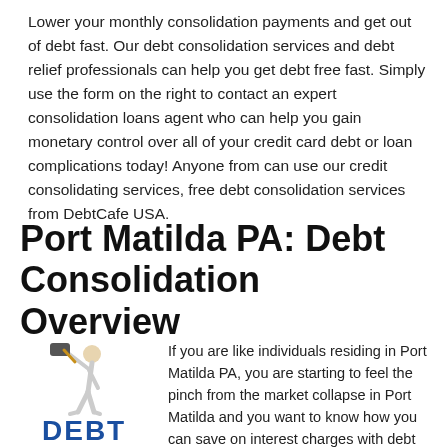Lower your monthly consolidation payments and get out of debt fast. Our debt consolidation services and debt relief professionals can help you get debt free fast. Simply use the form on the right to contact an expert consolidation loans agent who can help you gain monetary control over all of your credit card debt or loan complications today! Anyone from can use our credit consolidating services, free debt consolidation services from DebtCafe USA.
Port Matilda PA: Debt Consolidation Overview
[Figure (illustration): A small figure of a person raising a large hammer over the word DEBT in bold blue letters]
If you are like individuals residing in Port Matilda PA, you are starting to feel the pinch from the market collapse in Port Matilda and you want to know how you can save on interest charges with debt consolidation in Port Matilda and get out